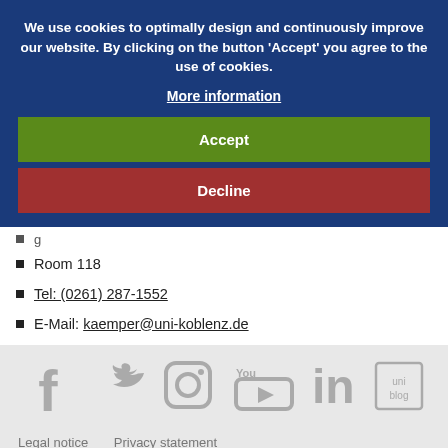We use cookies to optimally design and continuously improve our website. By clicking on the button 'Accept' you agree to the use of cookies. More information
Accept
Decline
Room 118
Tel: (0261) 287-1552
E-Mail: kaemper@uni-koblenz.de
[Figure (illustration): Social media icons: Facebook, Twitter, Instagram, YouTube, LinkedIn, uni blog]
Legal notice   Privacy statement   Barrier-Free Access   Sitemap   Contact us   Press   Log in